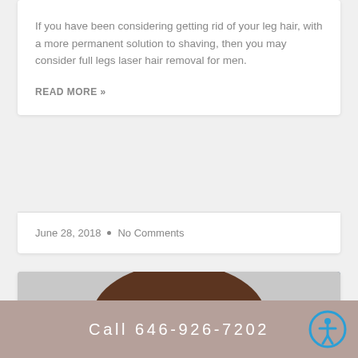If you have been considering getting rid of your leg hair, with a more permanent solution to shaving, then you may consider full legs laser hair removal for men.
READ MORE »
June 28, 2018  •  No Comments
[Figure (photo): A muscular man from behind wearing blue swim shorts, with a 'BEAUTY/SELF-CARE' badge overlaid on the image.]
Call 646-926-7202